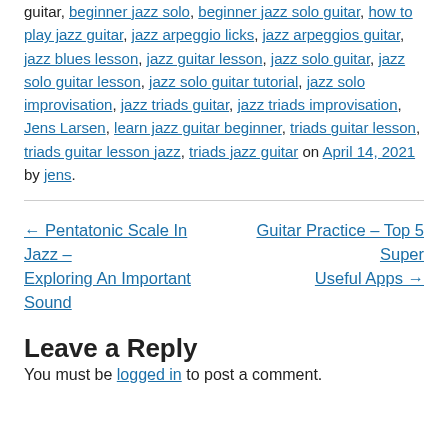guitar, beginner jazz solo, beginner jazz solo guitar, how to play jazz guitar, jazz arpeggio licks, jazz arpeggios guitar, jazz blues lesson, jazz guitar lesson, jazz solo guitar, jazz solo guitar lesson, jazz solo guitar tutorial, jazz solo improvisation, jazz triads guitar, jazz triads improvisation, Jens Larsen, learn jazz guitar beginner, triads guitar lesson, triads guitar lesson jazz, triads jazz guitar on April 14, 2021 by jens.
← Pentatonic Scale In Jazz – Exploring An Important Sound
Guitar Practice – Top 5 Super Useful Apps →
Leave a Reply
You must be logged in to post a comment.